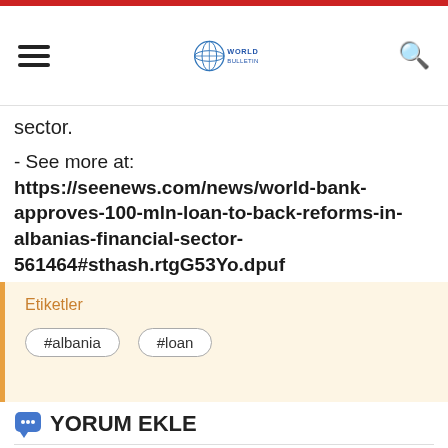World Bulletin navigation header
sector.
- See more at: https://seenews.com/news/world-bank-approves-100-mln-loan-to-back-reforms-in-albanias-financial-sector-561464#sthash.rtgG53Yo.dpuf
Etiketler
#albania
#loan
YORUM EKLE
Adınız Soyadınız